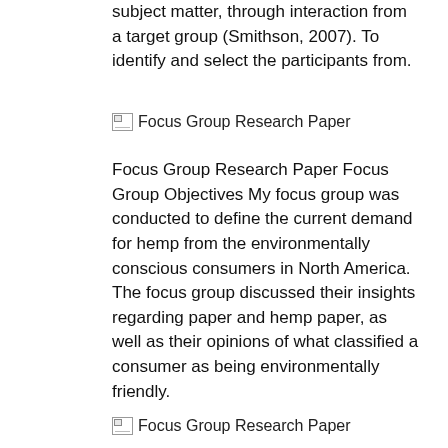subject matter, through interaction from a target group (Smithson, 2007). To identify and select the participants from.
[Figure (other): Broken image placeholder labeled 'Focus Group Research Paper']
Focus Group Research Paper Focus Group Objectives My focus group was conducted to define the current demand for hemp from the environmentally conscious consumers in North America. The focus group discussed their insights regarding paper and hemp paper, as well as their opinions of what classified a consumer as being environmentally friendly.
[Figure (other): Broken image placeholder labeled 'Focus Group Research Paper']